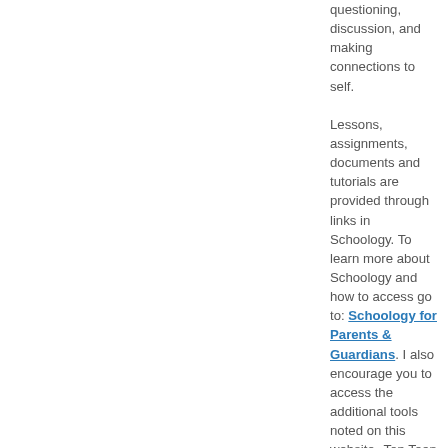questioning, discussion, and making connections to self.

Lessons, assignments, documents and tutorials are provided through links in Schoology. To learn more about Schoology and how to access go to: Schoology for Parents & Guardians. I also encourage you to access the additional tools noted on this website--Top Teen Reads, Vocabulary Flashcards, Lexiles, and MLA